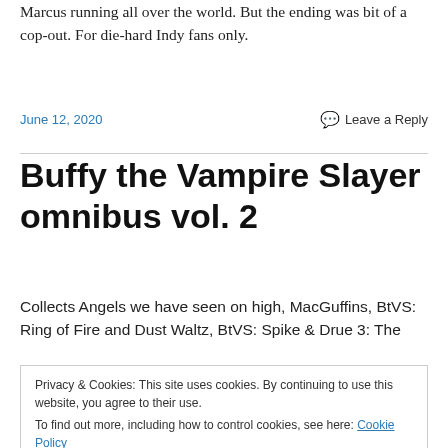Marcus running all over the world. But the ending was bit of a cop-out. For die-hard Indy fans only.
June 12, 2020
Leave a Reply
Buffy the Vampire Slayer omnibus vol. 2
Collects Angels we have seen on high, MacGuffins, BtVS: Ring of Fire and Dust Waltz, BtVS: Spike & Drue 3: The
Privacy & Cookies: This site uses cookies. By continuing to use this website, you agree to their use.
To find out more, including how to control cookies, see here: Cookie Policy
Close and accept